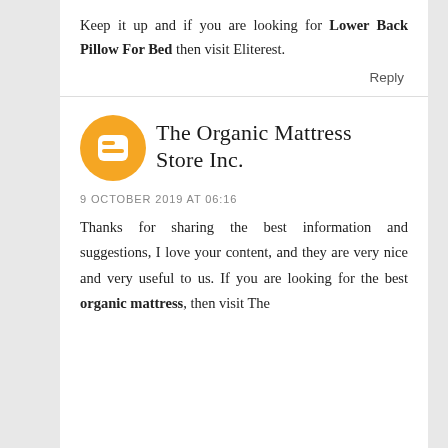Keep it up and if you are looking for Lower Back Pillow For Bed then visit Eliterest.
Reply
[Figure (logo): Blogger orange circle logo with white B letter]
The Organic Mattress Store Inc.
9 OCTOBER 2019 AT 06:16
Thanks for sharing the best information and suggestions, I love your content, and they are very nice and very useful to us. If you are looking for the best organic mattress, then visit The